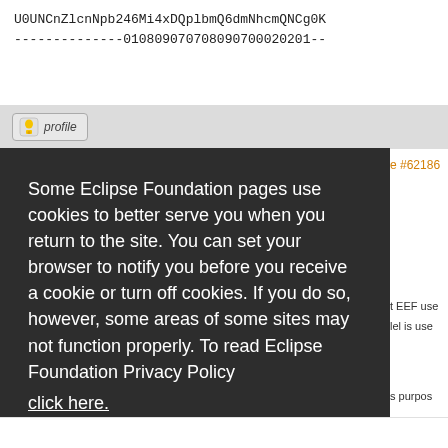U0UNCnZlcnNpb246Mi4xDQplbmQ6dmNhcmQNCg0K
--------------010809070708090700020201--
[Figure (screenshot): Profile button with bell icon and 'profile' label on a light grey background bar]
e #62186
t EEF use
lel is use
Some Eclipse Foundation pages use cookies to better serve you when you return to the site. You can set your browser to notify you before you receive a cookie or turn off cookies. If you do so, however, some areas of some sites may not function properly. To read Eclipse Foundation Privacy Policy click here.
Decline
Allow cookies
s purpos